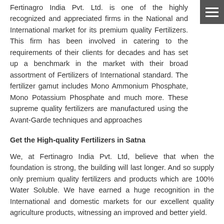Fertinagro India Pvt. Ltd. is one of the highly recognized and appreciated firms in the National and International market for its premium quality Fertilizers. This firm has been involved in catering to the requirements of their clients for decades and has set up a benchmark in the market with their broad assortment of Fertilizers of International standard. The fertilizer gamut includes Mono Ammonium Phosphate, Mono Potassium Phosphate and much more. These supreme quality fertilizers are manufactured using the Avant-Garde techniques and approaches
Get the High-quality Fertilizers in Satna
We, at Fertinagro India Pvt. Ltd, believe that when the foundation is strong, the building will last longer. And so supply only premium quality fertilizers and products which are 100% Water Soluble. We have earned a huge recognition in the International and domestic markets for our excellent quality agriculture products, witnessing an improved and better yield.